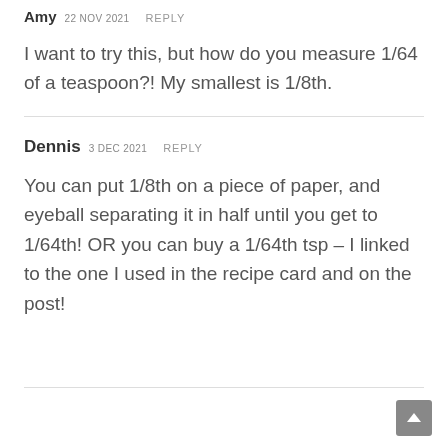Amy 22 NOV 2021 REPLY
I want to try this, but how do you measure 1/64 of a teaspoon?! My smallest is 1/8th.
Dennis 3 DEC 2021 REPLY
You can put 1/8th on a piece of paper, and eyeball separating it in half until you get to 1/64th! OR you can buy a 1/64th tsp – I linked to the one I used in the recipe card and on the post!